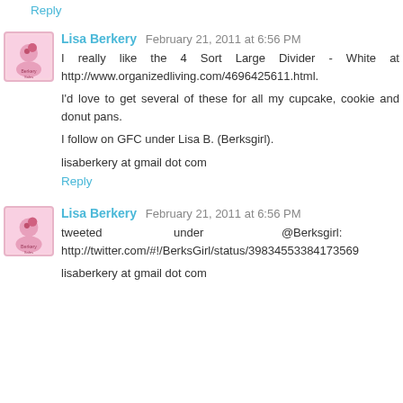Reply
Lisa Berkery  February 21, 2011 at 6:56 PM
I really like the 4 Sort Large Divider - White at http://www.organizedliving.com/4696425611.html.

I'd love to get several of these for all my cupcake, cookie and donut pans.

I follow on GFC under Lisa B. (Berksgirl).

lisaberkery at gmail dot com
Reply
Lisa Berkery  February 21, 2011 at 6:56 PM
tweeted under @Berksgirl: http://twitter.com/#!/BerksGirl/status/39834553384173569

lisaberkery at gmail dot com